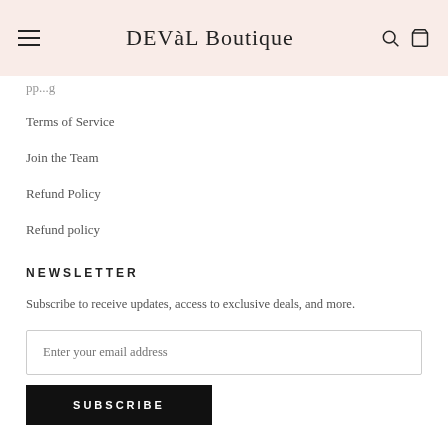DEVàL Boutique
pp...g
Terms of Service
Join the Team
Refund Policy
Refund policy
NEWSLETTER
Subscribe to receive updates, access to exclusive deals, and more.
Enter your email address
SUBSCRIBE